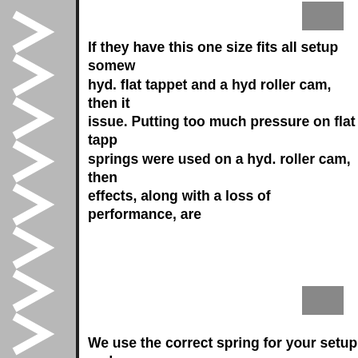[Figure (other): Left decorative column with gray background and white chevron/arrow pattern pointing right, with a vertical black bar on the right edge]
If they have this one size fits all setup somew... hyd. flat tappet and a hyd roller cam, then it... issue. Putting too much pressure on flat tapp... springs were used on a hyd. roller cam, then... effects, along with a loss of performance, are...
We use the correct spring for your setup and... roller cam. As mentioned above, the spring r... dramatically different. Even the odd ball soli... The one size fits all hardware claims also to w... setup to unsuspecting buyers, and it's not the... using a spring setup like this, and believe me...
Our cylinder heads are made from AC4B alloy... and 356 being used on many heads. The alloy u... commonly used by automakers in Europe and... strength of an alloy. As you can see, it's higher...